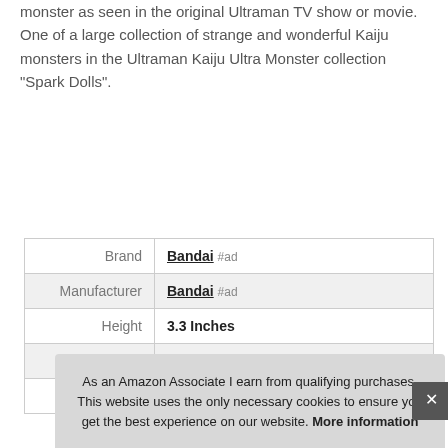A highly detailed and accurate reproduction of the Kaiju monster as seen in the original Ultraman TV show or movie. One of a large collection of strange and wonderful Kaiju monsters in the Ultraman Kaiju Ultra Monster collection "Spark Dolls".
| Brand | Bandai #ad |
| Manufacturer | Bandai #ad |
| Height | 3.3 Inches |
| Length | 6.1 Inches |
| Weight | 0.17 Pounds |
As an Amazon Associate I earn from qualifying purchases. This website uses the only necessary cookies to ensure you get the best experience on our website. More information